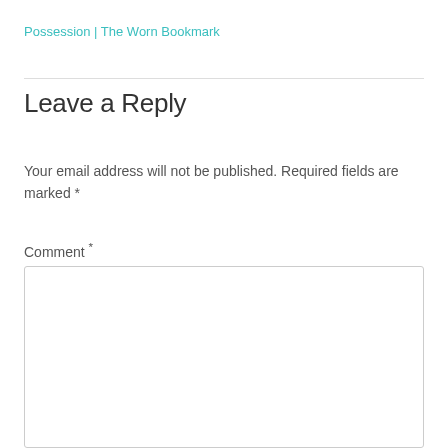Possession | The Worn Bookmark
Leave a Reply
Your email address will not be published. Required fields are marked *
Comment *